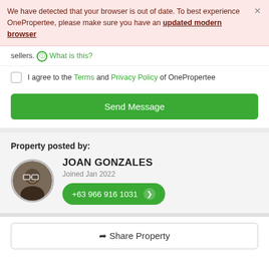We have detected that your browser is out of date. To best experience OnePropertee, please make sure you have an updated modern browser
sellers. ⓘ What is this?
I agree to the Terms and Privacy Policy of OnePropertee
Send Message
Property posted by:
JOAN GONZALES
Joined Jan 2022
+63 966 916 1031
Share Property